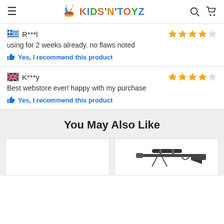Kids'N'Toyz
🇬🇷 R***l
using for 2 weeks already. no flaws noted
👍 Yes, I recommend this product
🇬🇧 K***y
Best webstore ever! happy with my purchase
👍 Yes, I recommend this product
You May Also Like
[Figure (photo): Product image placeholder (left)]
[Figure (photo): Airgun/rifle product image]